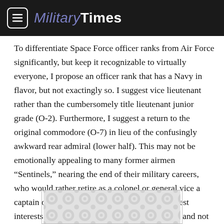Military Times
To differentiate Space Force officer ranks from Air Force significantly, but keep it recognizable to virtually everyone, I propose an officer rank that has a Navy in flavor, but not exactingly so. I suggest vice lieutenant rather than the cumbersomely title lieutenant junior grade (O-2). Furthermore, I suggest a return to the original commodore (O-7) in lieu of the confusingly awkward rear admiral (lower half). This may not be emotionally appealing to many former airmen “Sentinels,” nearing the end of their military careers, who would rather retire as a colonel or general vice a captain or admiral, but it is definitively in the best interests of the Space Force to find its own way and not simply present itself as a reflection of the Air
[Figure (other): Advertisement banner with gray circular pattern background]